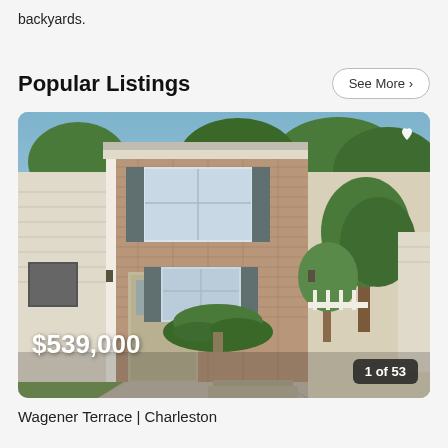backyards.
Popular Listings
See More >
[Figure (photo): Exterior photo of a two-story brick townhouse with gray shutters, a sago palm in the front, and trees on the right side. Driveway visible in foreground.]
$539,000
1 of 53
Wagener Terrace | Charleston